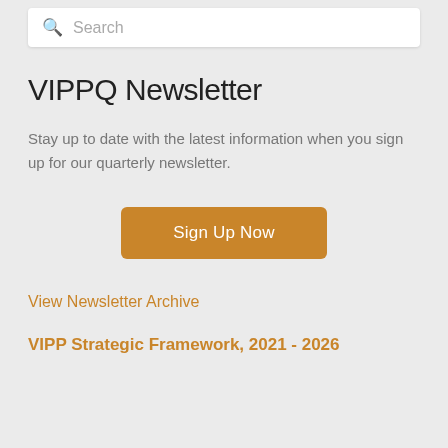Search
VIPPQ Newsletter
Stay up to date with the latest information when you sign up for our quarterly newsletter.
[Figure (other): Orange rounded button labeled 'Sign Up Now']
View Newsletter Archive
VIPP Strategic Framework, 2021 - 2026